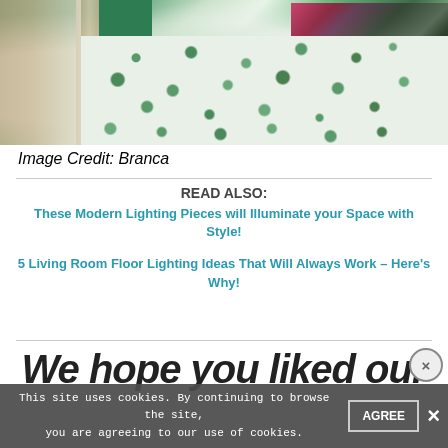[Figure (photo): Bedroom interior photo showing a bed with a green leopard-print bedspread, decorative pink and striped pillows, green accent wall, and neutral curtains. Image credit: Branca.]
Image Credit: Branca
READ ALSO:
These Modern Lighting Pieces will Illuminate your Space with Style!
5 Living Room Floor Lighting Ideas That Will Always Work – Here's Why!
We hope you liked our
This site uses cookies. By continuing to browse the site, you are agreeing to our use of cookies.